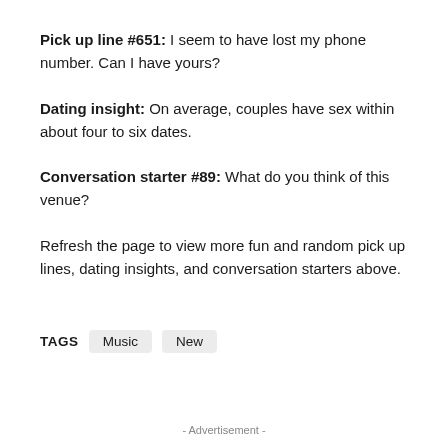Pick up line #651: I seem to have lost my phone number. Can I have yours?
Dating insight: On average, couples have sex within about four to six dates.
Conversation starter #89: What do you think of this venue?
Refresh the page to view more fun and random pick up lines, dating insights, and conversation starters above.
TAGS  Music  New
- Advertisement -